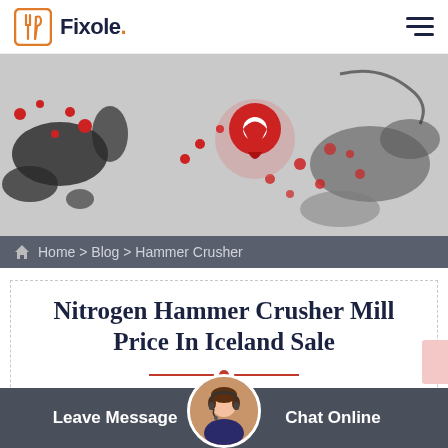Fixole.
[Figure (illustration): Hero banner image showing a stylized world map with red location pin markers and abstract ink-splash shapes on a light gray background.]
Home > Blog > Hammer Crusher
Nitrogen Hammer Crusher Mill Price In Iceland Sale
We Are Here For Your Questions Anytime 24/7, Welcome Your Consult…
Leave Message    Chat Online